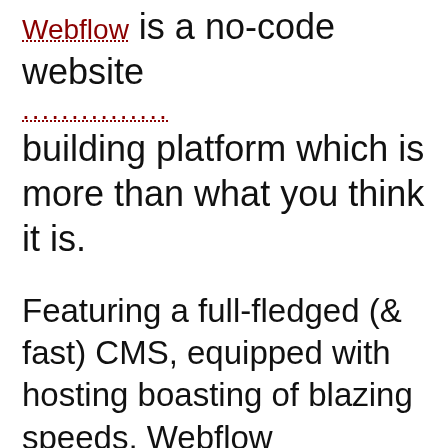Webflow is a no-code website building platform which is more than what you think it is.
Featuring a full-fledged (& fast) CMS, equipped with hosting boasting of blazing speeds, Webflow eCommerce, memberships (launching soon), several different (breezy and beautiful webflow Templates),